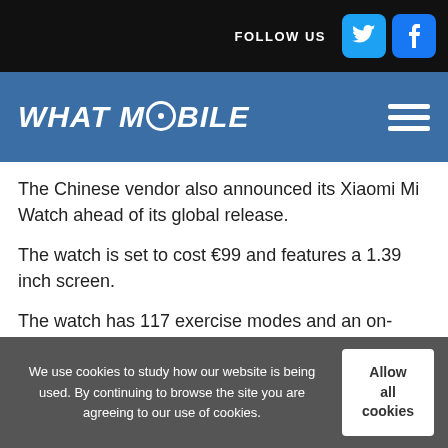FOLLOW US
WHAT MOBILE
The Chinese vendor also announced its Xiaomi Mi Watch ahead of its global release.
The watch is set to cost €99 and features a 1.39 inch screen.
The watch has 117 exercise modes and an on-board GPS with six health sensors and an air pressure monitor/heart rate sensor.
The company says that the battery life lasts 16 days between charges with charging time being two
We use cookies to study how our website is being used. By continuing to browse the site you are agreeing to our use of cookies.